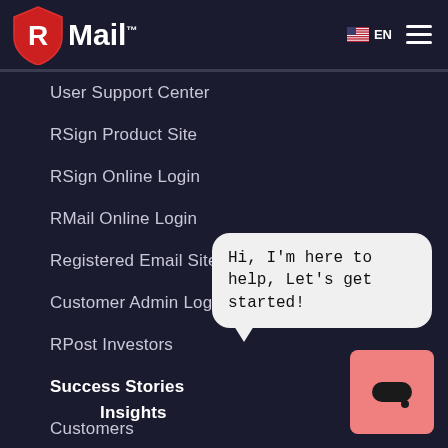[Figure (logo): RMail logo with red shield containing white R and text Mail with TM mark, navigation header with US flag EN label and hamburger menu]
User Support Center
RSign Product Site
RSign Online Login
RMail Online Login
Registered Email Site
Customer Admin Login
RPost Investors
Success Stories
Customers
Platforms
Industry Groups
Insights
Hi, I'm here to help, Let's get started!